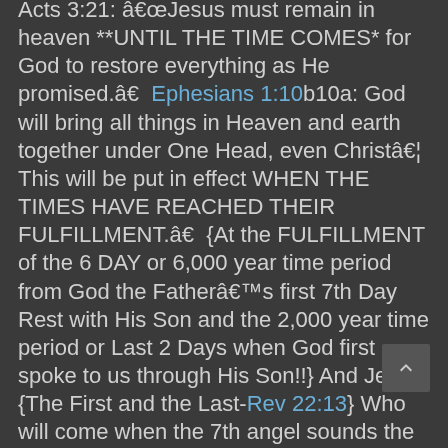Acts 3:21: â€œJesus must remain in heaven **UNTIL THE TIME COMES* for God to restore everything as He promised.â€  Ephesians 1:10b10a: God will bring all things in Heaven and earth together under One Head, even Christâ€¦ This will be put in effect WHEN THE TIMES HAVE REACHED THEIR FULFILLMENT.â€  {At the FULFILLMENT of the 6 DAY or 6,000 year time period from God the Fatherâ€™s first 7th Day Rest with His Son and the 2,000 year time period or Last 2 Days when God first spoke to us through His Son!!} And Jesus, {The First and the Last-Rev 22:13} Who will come when the 7th angel sounds the 7th and last trumpet, is Lord of the SABBATH or 7th Day as per Matthew 12:8 and Luke 6:5! Col 2:16,17: â€œThe Sabbath {Or 7th} Dayâ€¦ Is a **SHADOW** of things to